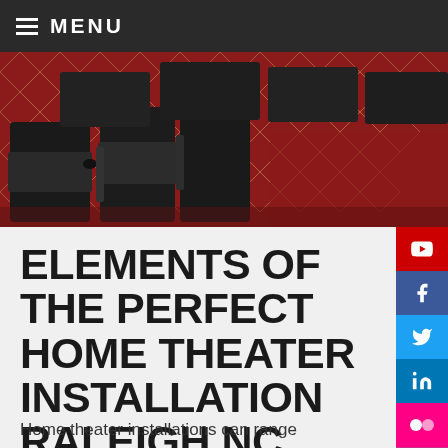≡ MENU
[Figure (photo): Home theater room with dark leather recliner seats arranged in rows on a red patterned carpet]
ELEMENTS OF THE PERFECT HOME THEATER INSTALLATION RALEIGH NC
Home theater installations can range